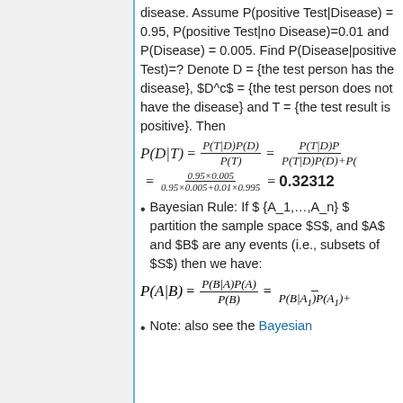disease. Assume P(positive Test|Disease) = 0.95, P(positive Test|no Disease)=0.01 and P(Disease) = 0.005. Find P(Disease|positive Test)=? Denote D = {the test person has the disease}, $D^c$ = {the test person does not have the disease} and T = {the test result is positive}. Then
Bayesian Rule: If $ {A_1,...,A_n} $ partition the sample space $S$, and $A$ and $B$ are any events (i.e., subsets of $S$) then we have:
Note: also see the Bayesian